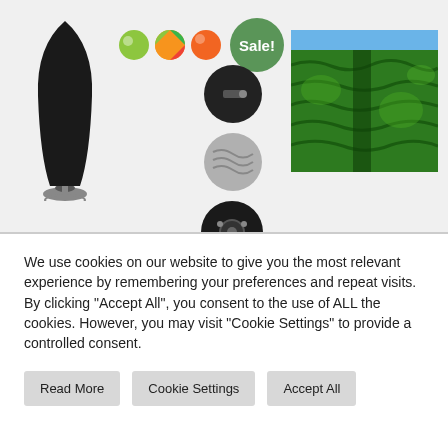[Figure (photo): E-commerce product page screenshot showing a black patio umbrella cover with detail thumbnails, color swatches, a Sale badge, and a hedged garden photo. Below is a cookie consent notice with Read More, Cookie Settings, and Accept All buttons.]
We use cookies on our website to give you the most relevant experience by remembering your preferences and repeat visits. By clicking "Accept All", you consent to the use of ALL the cookies. However, you may visit "Cookie Settings" to provide a controlled consent.
Read More
Cookie Settings
Accept All